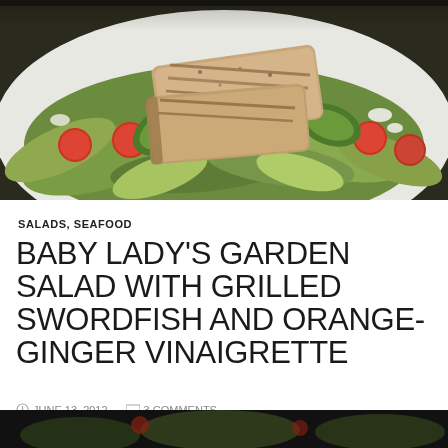[Figure (photo): Overhead photo of a salad with grilled swordfish slices on top of mixed greens, cherry tomatoes, and avocado on a white plate]
SALADS, SEAFOOD
BABY LADY'S GARDEN SALAD WITH GRILLED SWORDFISH AND ORANGE-GINGER VINAIGRETTE
JUNE 13, 2012   3 COMMENTS
[Figure (photo): Partial view of another food photo at the bottom of the page, dark background]